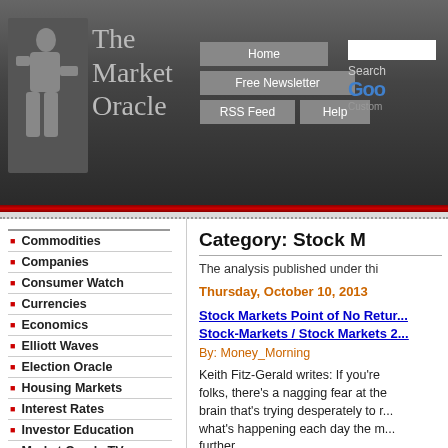The Market Oracle
Commodities
Companies
Consumer Watch
Currencies
Economics
Elliott Waves
Election Oracle
Housing Markets
Interest Rates
Investor Education
Market Oracle TV
Mega-Trend Forecasts
Category: Stock Markets
The analysis published under this category...
Thursday, October 10, 2013
Stock Markets Point of No Return / Stock-Markets / Stock Markets 2013
By: Money_Morning
Keith Fitz-Gerald writes: If you're like most folks, there's a nagging fear at the back of your brain that's trying desperately to rationalize what's happening each day the market rises further.
It's tough to control under normal circumstances, tougher to dismiss against the backdrop of infantile behavior.